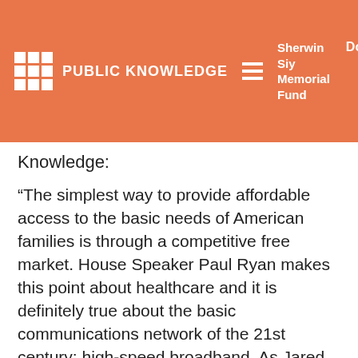PUBLIC KNOWLEDGE | Sherwin Siy Memorial Fund | Donate
Knowledge:
“The simplest way to provide affordable access to the basic needs of American families is through a competitive free market. House Speaker Paul Ryan makes this point about healthcare and it is definitely true about the basic communications network of the 21st century: high-speed broadband. As Jared Kushner says, ‘high-speed fiber with multiple carriers’ can lower costs and